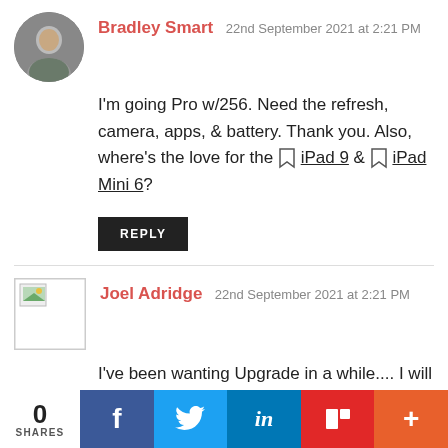[Figure (photo): Profile photo of Bradley Smart — circular avatar showing a person]
Bradley Smart 22nd September 2021 at 2:21 PM
I'm going Pro w/256. Need the refresh, camera, apps, & battery. Thank you. Also, where's the love for the ◇ iPad 9 & ◇ iPad Mini 6?
REPLY
[Figure (photo): Broken/missing profile image for Joel Adridge]
Joel Adridge 22nd September 2021 at 2:21 PM
I've been wanting Upgrade in a while.... I will faint if I got one.
0 SHARES
f  🐦  in  ⧉  +